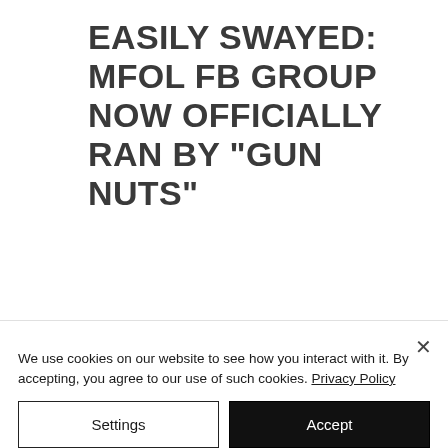EASILY SWAYED: MFOL FB GROUP NOW OFFICIALLY RAN BY "GUN NUTS"
We've all thought about it.
Infiltrating one of our adversary's social media groups as "one of them." THEY do it all the time to us. I know from experience... when you're chatting
We use cookies on our website to see how you interact with it. By accepting, you agree to our use of such cookies. Privacy Policy
Settings
Accept